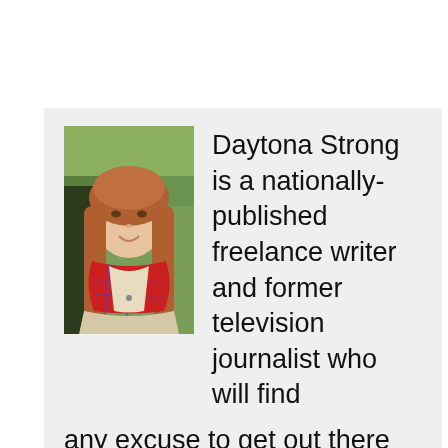[Figure (photo): Portrait photo of a young woman with long reddish-brown hair wearing a red scarf and light jacket, smiling, outdoors with green foliage in background.]
Daytona Strong is a nationally-published freelance writer and former television journalist who will find any excuse to get out there and explore all that the Pacific Northwest has to offer. From scouting out the best wines and breweries to discovering family-friendly outings for her own little nest, she loves